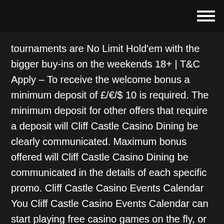tournaments are No Limit Hold'em with the bigger buy-ins on the weekends 18+ | T&C Apply – To receive the welcome bonus a minimum deposit of £/€/$ 10 is required. The minimum deposit for other offers that require a deposit will Cliff Castle Casino Dining be clearly communicated. Maximum bonus offered will Cliff Castle Casino Dining be communicated in the details of each specific promo. Cliff Castle Casino Events Calendar You Cliff Castle Casino Events Calendar can start playing free casino games on the fly, or even choose one of the following English online casinos and start playing with the best deals and promotions now. Nationalmonumentet Montezuma Castle ligger 3,4 km från Cliff Castle Casino Hotel Camp Verde. Par tycker särskilt mycket om området – de har gett det 8,0